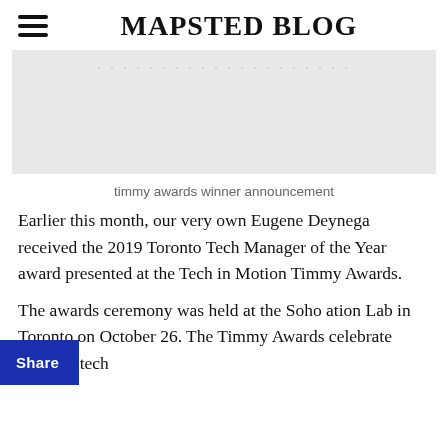MAPSTED BLOG
[Figure (photo): Faded award announcement image with light gray background]
timmy awards winner announcement
Earlier this month, our very own Eugene Deynega received the 2019 Toronto Tech Manager of the Year award presented at the Tech in Motion Timmy Awards.
The awards ceremony was held at the Soho Innovation Lab in Toronto on October 26. The Timmy Awards celebrate regional tech